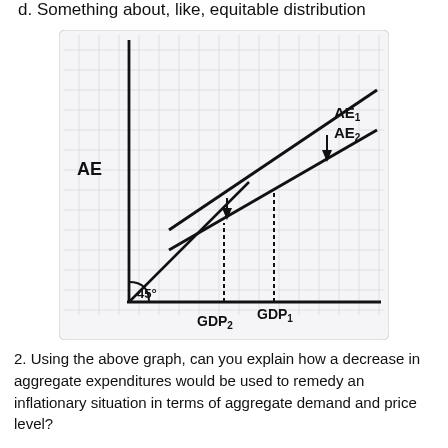d. Something about, like, equitable distribution
[Figure (other): Hand-drawn economics diagram on graph paper showing AE (Aggregate Expenditure) on y-axis and GDP on x-axis. Two downward-shifted AE curves (AE1 above AE2) with a 45-degree line from origin. Dotted vertical lines drop from intersection points to GDP1 and GDP2 on x-axis, with downward arrows indicating the shift between curves.]
2. Using the above graph, can you explain how a decrease in aggregate expenditures would be used to remedy an inflationary situation in terms of aggregate demand and price level?